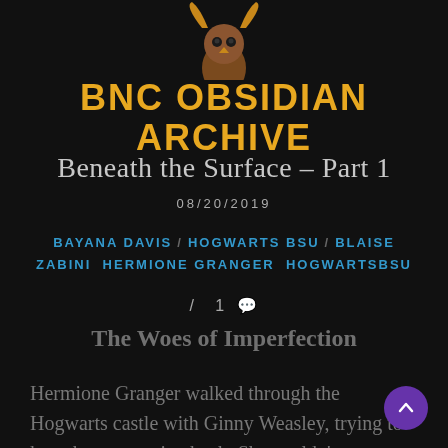[Figure (logo): BNC Obsidian Archive logo: stylized owl or figure with brown head/body and golden horns/wings on dark background]
BNC OBSIDIAN ARCHIVE
Beneath the Surface – Part 1
08/20/2019
BAYANA DAVIS / HOGWARTS BSU / BLAISE ZABINI HERMIONE GRANGER HOGWARTSBSU
1 💬
The Woes of Imperfection
Hermione Granger walked through the Hogwarts castle with Ginny Weasley, trying to keep her nerves in check. She couldn't